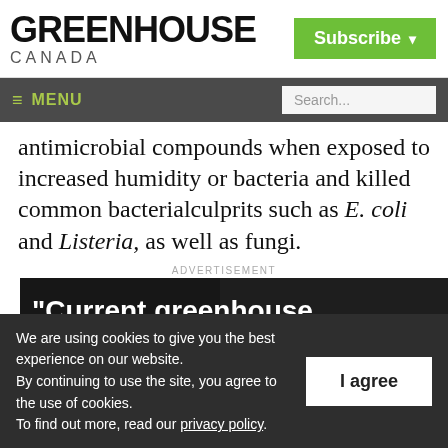GREENHOUSE CANADA
antimicrobial compounds when exposed to increased humidity or bacteria and killed common bacterialculprits such as E. coli and Listeria, as well as fungi.
ADVERTISEMENT
[Figure (photo): Advertisement image showing greenhouse industry news with bold white text on dark background reading 'Current greenhouse industry news when']
We are using cookies to give you the best experience on our website.
By continuing to use the site, you agree to the use of cookies.
To find out more, read our privacy policy.